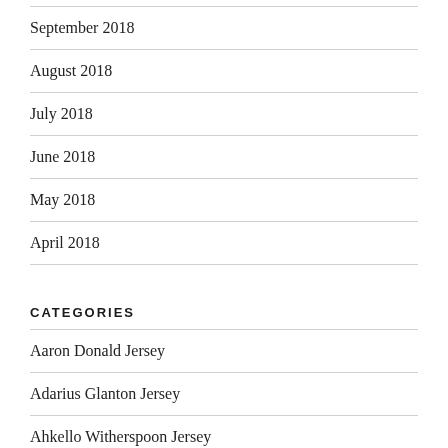September 2018
August 2018
July 2018
June 2018
May 2018
April 2018
CATEGORIES
Aaron Donald Jersey
Adarius Glanton Jersey
Ahkello Witherspoon Jersey